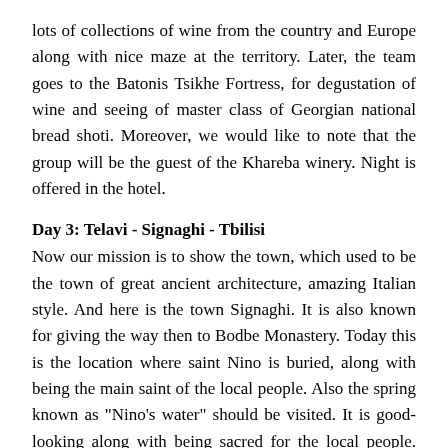lots of collections of wine from the country and Europe along with nice maze at the territory. Later, the team goes to the Batonis Tsikhe Fortress, for degustation of wine and seeing of master class of Georgian national bread shoti. Moreover, we would like to note that the group will be the guest of the Khareba winery. Night is offered in the hotel.
Day 3: Telavi - Signaghi - Tbilisi
Now our mission is to show the town, which used to be the town of great ancient architecture, amazing Italian style. And here is the town Signaghi. It is also known for giving the way then to Bodbe Monastery. Today this is the location where saint Nino is buried, along with being the main saint of the local people. Also the spring known as "Nino's water" should be visited. It is good-looking along with being sacred for the local people. Here goes the route to the David Gareja monastery, created out of stone in the very 6th century. The man of the name of the complex is said to be one of the thirteen Assyrian fathers. Then night is offered in the hotel.